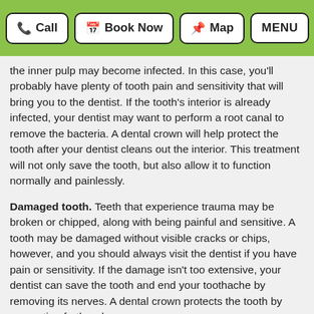Call | Book Now | Map | MENU
the inner pulp may become infected. In this case, you'll probably have plenty of tooth pain and sensitivity that will bring you to the dentist. If the tooth's interior is already infected, your dentist may want to perform a root canal to remove the bacteria. A dental crown will help protect the tooth after your dentist cleans out the interior. This treatment will not only save the tooth, but also allow it to function normally and painlessly.
Damaged tooth. Teeth that experience trauma may be broken or chipped, along with being painful and sensitive. A tooth may be damaged without visible cracks or chips, however, and you should always visit the dentist if you have pain or sensitivity. If the damage isn't too extensive, your dentist can save the tooth and end your toothache by removing its nerves. A dental crown protects the tooth by preventing further damage.
If you've got more questions on root canals, give our Highpoint, NC dental office a call. We'll be happy to assist you.